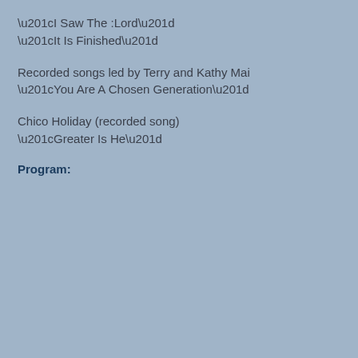“I Saw The :Lord”
“It Is Finished”
Recorded songs led by Terry and Kathy Mai
“You Are A Chosen Generation”
Chico Holiday (recorded song)
“Greater Is He”
Program: